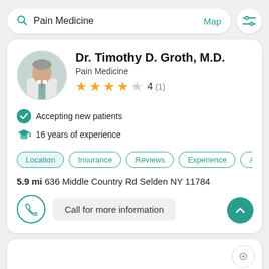Pain Medicine  Map
Dr. Timothy D. Groth, M.D.
Pain Medicine
4 (1)
Accepting new patients
16 years of experience
Location  Insurance  Reviews  Experience  Abo
5.9 mi 636 Middle Country Rd Selden NY 11784
Call for more information